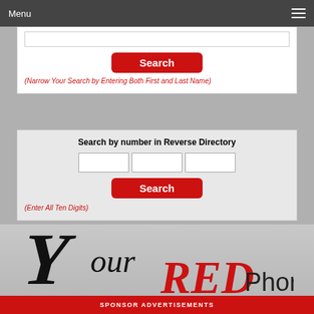Menu
[Figure (screenshot): Search input field (partial, top cut off)]
Search
(Narrow Your Search by Entering Both First and Last Name)
Search by number in Reverse Directory
[Figure (screenshot): Three phone number input fields]
Search
(Enter All Ten Digits)
[Figure (logo): Your RED Phonebook logo — stylized cursive 'Your' in black with large decorative Y, 'RED' in red serif italic, 'Phonebook' in black sans-serif]
SPONSOR ADVERTISEMENTS